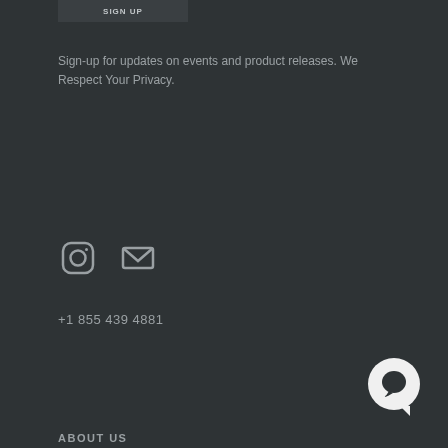[Figure (screenshot): Sign up button (dark background, partial view at top)]
Sign-up for updates on events and product releases. We Respect Your Privacy.
[Figure (other): Social media icons: Instagram camera icon and email/envelope icon]
+1 855 439 4881
[Figure (other): White circular chat bubble icon in bottom right corner]
ABOUT US